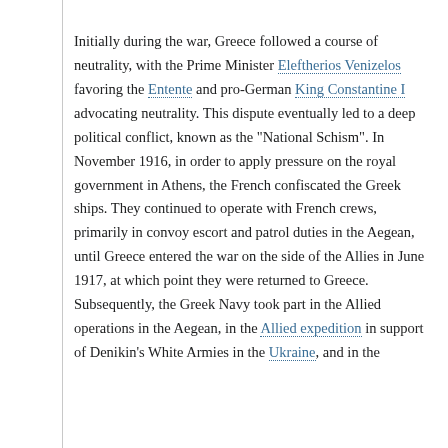Initially during the war, Greece followed a course of neutrality, with the Prime Minister Eleftherios Venizelos favoring the Entente and pro-German King Constantine I advocating neutrality. This dispute eventually led to a deep political conflict, known as the "National Schism". In November 1916, in order to apply pressure on the royal government in Athens, the French confiscated the Greek ships. They continued to operate with French crews, primarily in convoy escort and patrol duties in the Aegean, until Greece entered the war on the side of the Allies in June 1917, at which point they were returned to Greece. Subsequently, the Greek Navy took part in the Allied operations in the Aegean, in the Allied expedition in support of Denikin's White Armies in the Ukraine, and in the